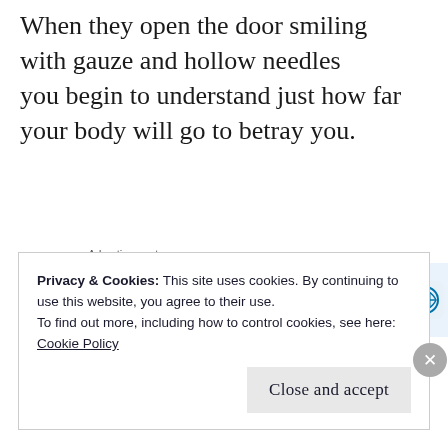When they open the door smiling with gauze and hollow needles you begin to understand just how far your body will go to betray you.
Advertisements
Build a writing habit. Post on the go.
GET THE APP
Privacy & Cookies: This site uses cookies. By continuing to use this website, you agree to their use.
To find out more, including how to control cookies, see here:
Cookie Policy
Close and accept